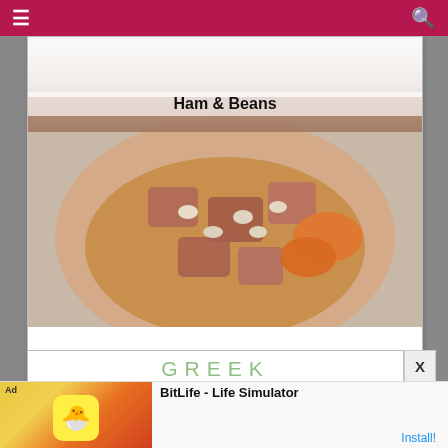Navigation bar with hamburger menu and search icon
[Figure (photo): Ham & Beans food photo showing a white decorative bowl with pieces of ham, white beans, and carrots in broth]
Ham & Beans
[Figure (photo): Greek Chicken Dagwood Sandwich card with large green text]
GREEK Chicken Dagwood Sandwich
[Figure (screenshot): BitLife - Life Simulator advertisement banner at the bottom of the screen with Install button]